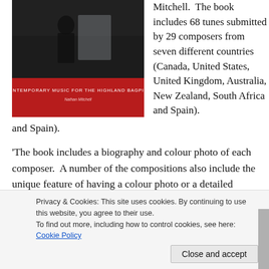[Figure (photo): Book cover for 'Contemporary Music for the Highland Bagpipe' by Nathan Mitchell. Dark silhouette background with a red lower section showing the title and author name in white text.]
Mitchell.  The book includes 68 tunes submitted by 29 composers from seven different countries (Canada, United States, United Kingdom, Australia, New Zealand, South Africa and Spain).
'The book includes a biography and colour photo of each composer.  A number of the compositions also include the unique feature of having a colour photo or a detailed
Privacy & Cookies: This site uses cookies. By continuing to use this website, you agree to their use.
To find out more, including how to control cookies, see here: Cookie Policy
Close and accept